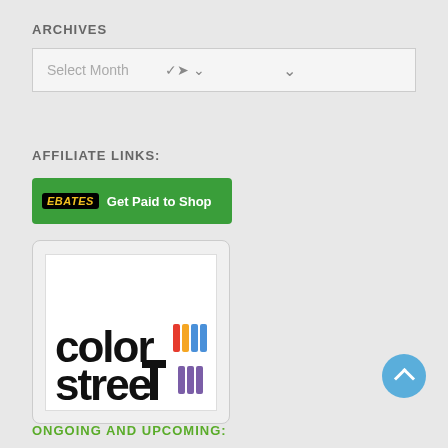ARCHIVES
[Figure (screenshot): Dropdown select box labeled 'Select Month' with a chevron arrow on the right]
AFFILIATE LINKS:
[Figure (logo): Ebates green button with text 'Get Paid to Shop']
[Figure (logo): Color Street brand logo with colorful vertical stripes]
ONGOING AND UPCOMING: